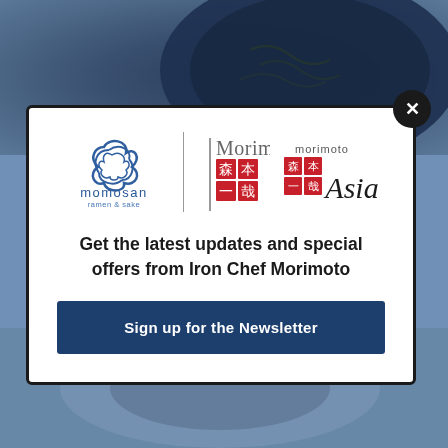[Figure (screenshot): Website popup modal for Iron Chef Morimoto restaurant group newsletter signup, shown over a blue-tinted food photography background. The modal contains logos for momosan ramen & sake, Morimoto, and Morimoto Asia, a headline, and a sign-up button.]
Get the latest updates and special offers from Iron Chef Morimoto
Sign up for the Newsletter